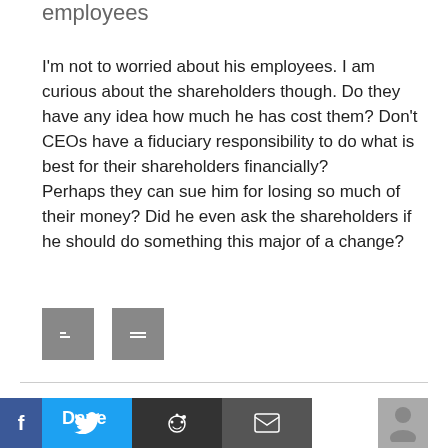employees
I'm not to worried about his employees. I am curious about the shareholders though. Do they have any idea how much he has cost them? Don't CEOs have a fiduciary responsibility to do what is best for their shareholders financially? Perhaps they can sue him for losing so much of their money? Did he even ask the shareholders if he should do something this major of a change?
[Figure (other): Two grey share/action buttons]
[Figure (other): Social sharing bar with Facebook, Twitter, Reddit, Email icons and Dave author block with avatar placeholder]